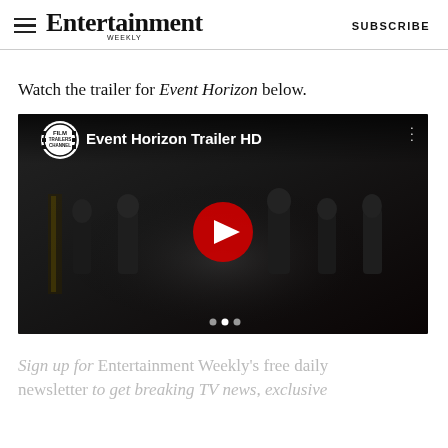Entertainment Weekly — SUBSCRIBE
Watch the trailer for Event Horizon below.
[Figure (screenshot): YouTube video embed showing the Event Horizon Trailer HD, with Film Trailers Channel logo, dark sci-fi scene background, and a red YouTube play button in the center.]
Sign up for Entertainment Weekly's free daily newsletter to get breaking TV news, exclusive